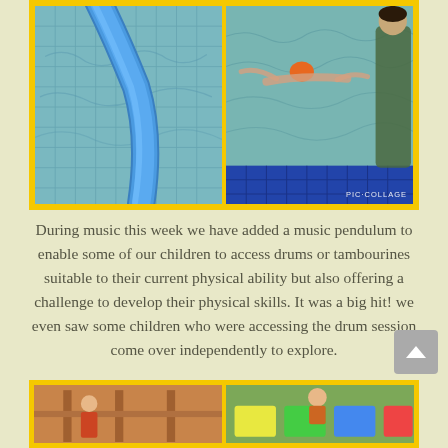[Figure (photo): Photo collage with yellow border showing two swimming pool images: left image shows close-up of a blue pool noodle/foam tube in water with tile pattern; right image shows a child swimming in a pool with an instructor/adult watching from the pool edge. PIC COLLAGE watermark visible on right image.]
During music this week we have added a music pendulum to enable some of our children to access drums or tambourines suitable to their current physical ability but also offering a challenge to develop their physical skills. It was a big hit! we even saw some children who were accessing the drum session come over independently to explore.
[Figure (photo): Partial bottom collage with yellow border showing two images of children in what appears to be a classroom or activity setting.]